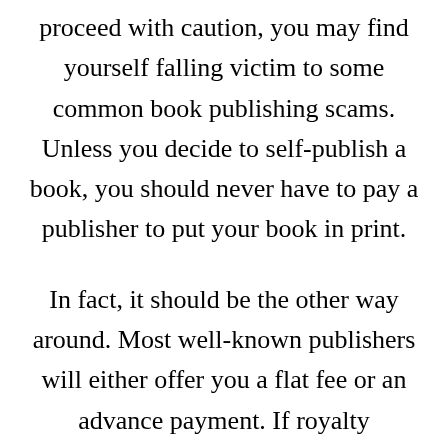proceed with caution, you may find yourself falling victim to some common book publishing scams. Unless you decide to self-publish a book, you should never have to pay a publisher to put your book in print.

In fact, it should be the other way around. Most well-known publishers will either offer you a flat fee or an advance payment. If royalty payments are decided on, a specific percentage will be agreed upon. Individuals or companies who claim that you must pay to